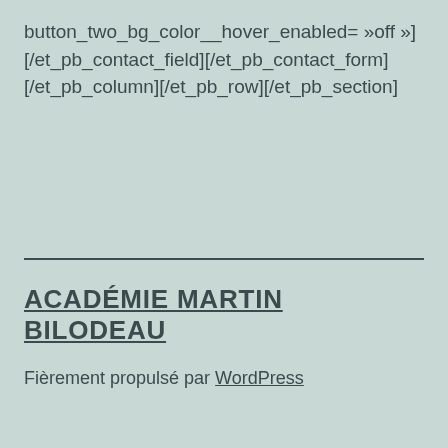button_two_bg_color__hover_enabled= »off »][/et_pb_contact_field][/et_pb_contact_form][/et_pb_column][/et_pb_row][/et_pb_section]
ACADÉMIE MARTIN BILODEAU
Fièrement propulsé par WordPress